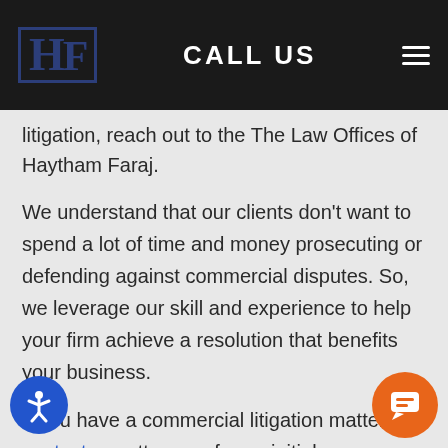CALL US
litigation, reach out to the The Law Offices of Haytham Faraj.
We understand that our clients don't want to spend a lot of time and money prosecuting or defending against commercial disputes. So, we leverage our skill and experience to help your firm achieve a resolution that benefits your business.
If you have a commercial litigation matter, contact our attorneys for an initial case